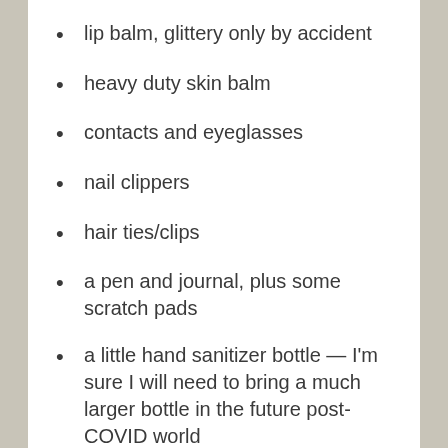lip balm, glittery only by accident
heavy duty skin balm
contacts and eyeglasses
nail clippers
hair ties/clips
a pen and journal, plus some scratch pads
a little hand sanitizer bottle — I'm sure I will need to bring a much larger bottle in the future post-COVID world
a headlamp
a waterproof poncho
two bandanas (came in handy a lot)
the items to leave at Ferro Cruz